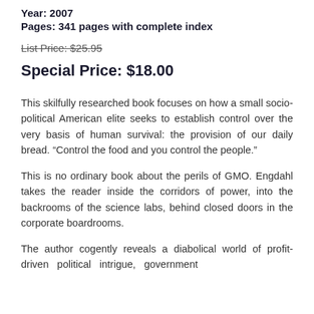Year: 2007
Pages: 341 pages with complete index
List Price: $25.95
Special Price: $18.00
This skilfully researched book focuses on how a small socio-political American elite seeks to establish control over the very basis of human survival: the provision of our daily bread. “Control the food and you control the people.”
This is no ordinary book about the perils of GMO. Engdahl takes the reader inside the corridors of power, into the backrooms of the science labs, behind closed doors in the corporate boardrooms.
The author cogently reveals a diabolical world of profit-driven political intrigue, government